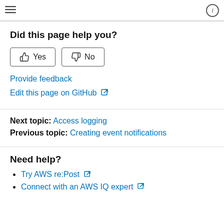≡ (i)
Did this page help you?
Yes | No (buttons)
Provide feedback
Edit this page on GitHub ↗
Next topic: Access logging
Previous topic: Creating event notifications
Need help?
Try AWS re:Post ↗
Connect with an AWS IQ expert ↗